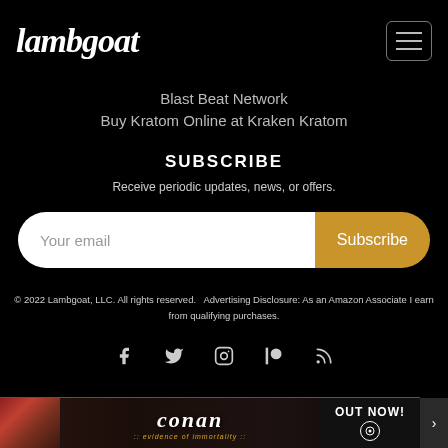Lambgoat [logo] + hamburger menu
Blast Beat Network
Buy Kratom Online at Kraken Kratom
SUBSCRIBE
Receive periodic updates, news, or offers.
Your email [input] Subscribe [button]
© 2022 Lambgoat, LLC. All rights reserved. Advertising Disclosure: As an Amazon Associate I earn from qualifying purchases.
[Figure (infographic): Social media icons: Facebook, Twitter, Instagram, Patreon, RSS]
[Figure (photo): Banner advertisement for Conan - Evidence of Immortality, Out Now]